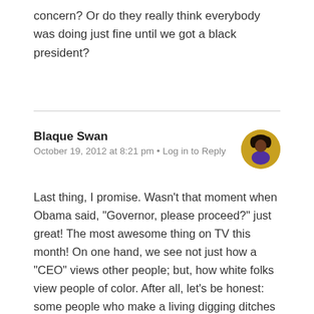concern? Or do they really think everybody was doing just fine until we got a black president?
Blaque Swan
October 19, 2012 at 8:21 pm • Log in to Reply
Last thing, I promise. Wasn't that moment when Obama said, "Governor, please proceed?" just great! The most awesome thing on TV this month! On one hand, we see not just how a "CEO" views other people; but, how white folks view people of color. After all, let's be honest: some people who make a living digging ditches would treat a black person the same way, president or not.
But I digress.
Then Romney just stepped right in it! Wasn't that just